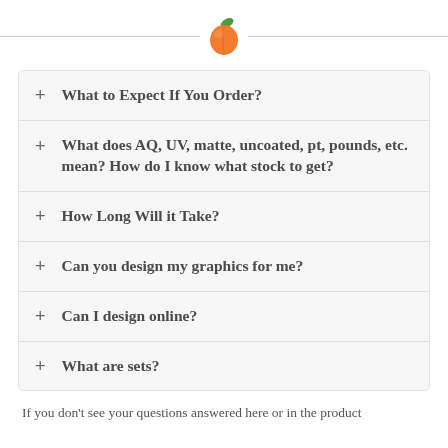[Figure (logo): Orange peach fruit icon with green leaf, centered with horizontal lines on either side]
+ What to Expect If You Order?
+ What does AQ, UV, matte, uncoated, pt, pounds, etc. mean? How do I know what stock to get?
+ How Long Will it Take?
+ Can you design my graphics for me?
+ Can I design online?
+ What are sets?
If you don't see your questions answered here or in the product